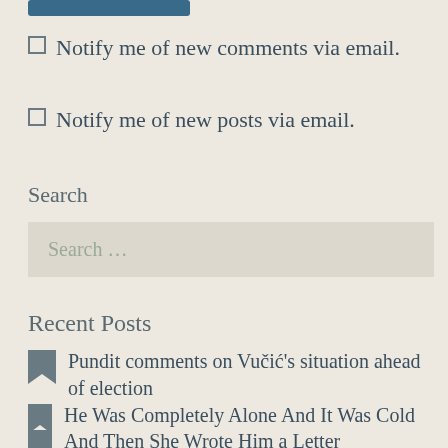Notify me of new comments via email.
Notify me of new posts via email.
Search
Search …
Recent Posts
Pundit comments on Vučić's situation ahead of election
He Was Completely Alone And It Was Cold
And Then She Wrote Him a Letter
A Minister Who Loves Fountain Pens